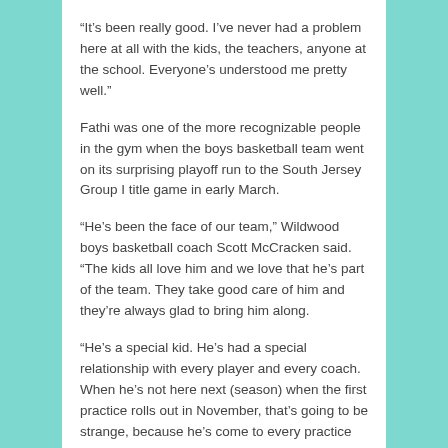“It’s been really good. I’ve never had a problem here at all with the kids, the teachers, anyone at the school. Everyone’s understood me pretty well.”
Fathi was one of the more recognizable people in the gym when the boys basketball team went on its surprising playoff run to the South Jersey Group I title game in early March.
“He’s been the face of our team,” Wildwood boys basketball coach Scott McCracken said. “The kids all love him and we love that he’s part of the team. They take good care of him and they’re always glad to bring him along.
“He’s a special kid. He’s had a special relationship with every player and every coach. When he’s not here next (season) when the first practice rolls out in November, that’s going to be strange, because he’s come to every practice and every game. He’s been so important to us. It’ll be difficult not having him around.”
Schaffer said Fathi winning Prom King honors almost serves as a proper send-off for a student who’s made